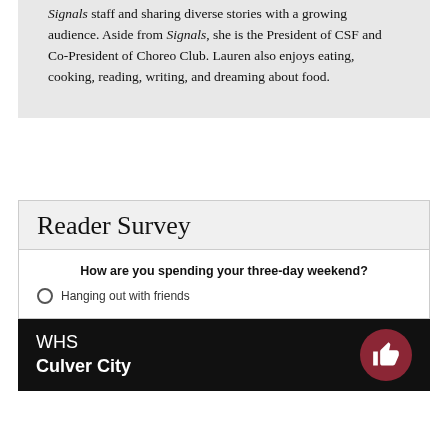Signals staff and sharing diverse stories with a growing audience. Aside from Signals, she is the President of CSF and Co-President of Choreo Club. Lauren also enjoys eating, cooking, reading, writing, and dreaming about food.
Reader Survey
How are you spending your three-day weekend?
Hanging out with friends
WHS Culver City